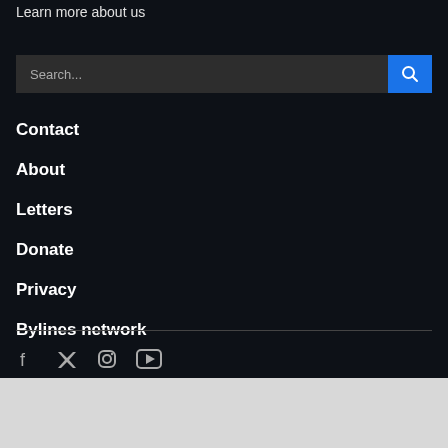Learn more about us
[Figure (other): Search bar with text input and blue search button with magnifying glass icon]
Contact
About
Letters
Donate
Privacy
Bylines network
[Figure (other): Social media icons: Facebook, Twitter, Instagram, YouTube]